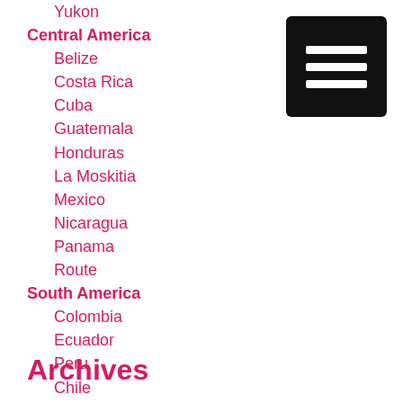Yukon
Central America
Belize
Costa Rica
Cuba
Guatemala
Honduras
La Moskitia
Mexico
Nicaragua
Panama
Route
South America
Colombia
Ecuador
Peru
Chile
Patagonia
Argentina
Bolivia
Archives